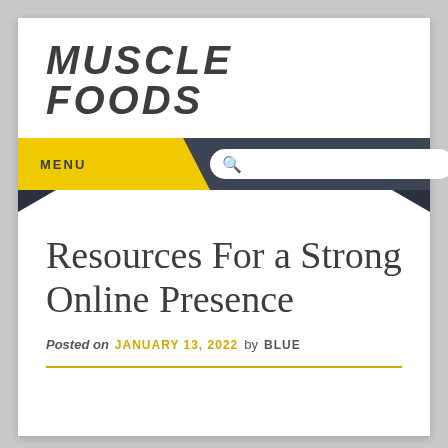MUSCLE FOODS
MENU
Resources For a Strong Online Presence
Posted on JANUARY 13, 2022 by BLUE